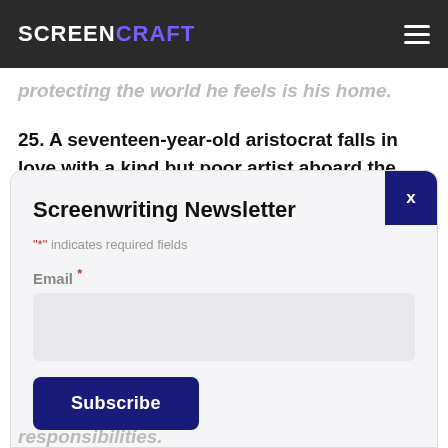SCREENCRAFT
protecting the world he feels is his home.
25. A seventeen-year-old aristocrat falls in love with a kind but poor artist aboard the luxurious,
Screenwriting Newsletter
"*" indicates required fields
Email *
Subscribe
responsibilities.